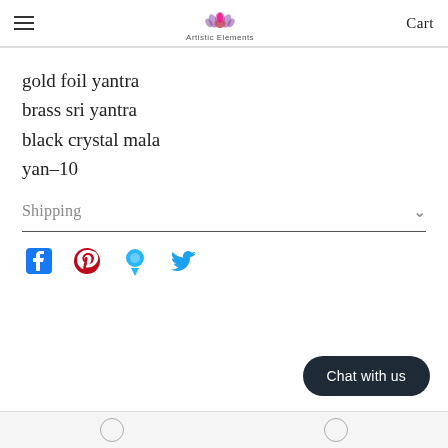Artistic Elements — Cart
gold foil yantra
brass sri yantra
black crystal mala
yan–10
Shipping
[Figure (other): Social share icons: Facebook, Pinterest, Fancy, Twitter]
Chat with us